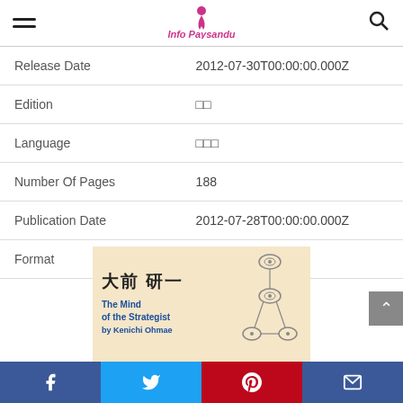Info Paysandu navigation header with hamburger menu and search icon
| Field | Value |
| --- | --- |
| Release Date | 2012-07-30T00:00:00.000Z |
| Edition | □□ |
| Language | □□□ |
| Number Of Pages | 188 |
| Publication Date | 2012-07-28T00:00:00.000Z |
| Format | Kindle□ |
[Figure (photo): Book cover for 'The Mind of the Strategist' by Kenichi Ohmae (大前 研一), beige/tan background with Japanese characters and a diagram of connected nodes on the right side.]
Social sharing bar: Facebook, Twitter, Pinterest, Email